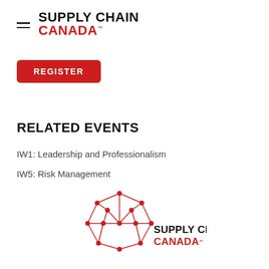SUPPLY CHAIN CANADA
REGISTER
RELATED EVENTS
IW1: Leadership and Professionalism
IW5: Risk Management
[Figure (logo): Supply Chain Canada logo with red maple-leaf-style network diagram and text 'SUPPLY CHAIN CANADA']